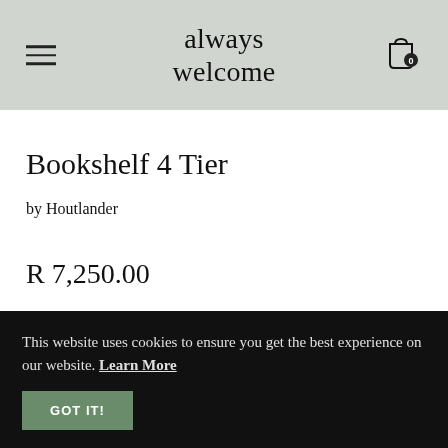always welcome
Bookshelf 4 Tier
by Houtlander
R 7,250.00
This website uses cookies to ensure you get the best experience on our website. Learn More GOT IT!